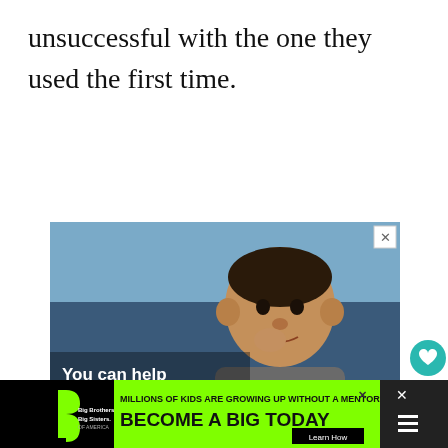unsuccessful with the one they used the first time.
[Figure (photo): Advertisement: No Kid Hungry campaign showing a young child eating food in a classroom. Text overlay reads 'You can help hungry kids.' with a LEARN HOW button and No Kid Hungry logo on an orange bar.]
[Figure (infographic): Bottom banner advertisement: Big Brothers Big Sisters. Text reads 'MILLIONS OF KIDS ARE GROWING UP WITHOUT A MENTOR. BECOME A BIG TODAY' with a Learn How button.]